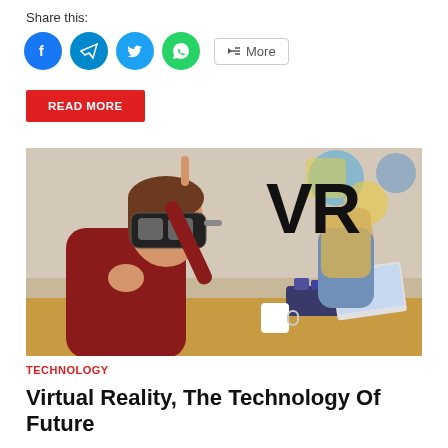Share this:
[Figure (infographic): Social share buttons: Facebook (blue circle), Telegram (blue circle), Twitter (blue circle), WhatsApp (green circle), and a More button with share icon]
READ MORE
[Figure (photo): A boy wearing a VR headset in a classroom setting, pointing with his finger. A large bold 'VR' text overlaid in the upper right. Other students visible in background. A laptop and robot visible on a table.]
TECHNOLOGY
Virtual Reality, The Technology Of Future